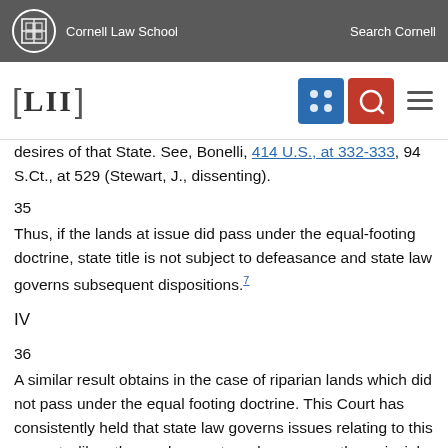Cornell Law School | Search Cornell
[LII]
desires of that State. See, Bonelli, 414 U.S., at 332-333, 94 S.Ct., at 529 (Stewart, J., dissenting).
35
Thus, if the lands at issue did pass under the equal-footing doctrine, state title is not subject to defeasance and state law governs subsequent dispositions.7
IV
36
A similar result obtains in the case of riparian lands which did not pass under the equal footing doctrine. This Court has consistently held that state law governs issues relating to this property, like other real property, unless some other principle of federal